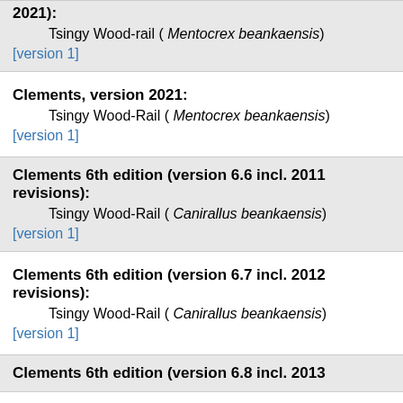2021):
Tsingy Wood-rail ( Mentocrex beankaensis)
[version 1]
Clements, version 2021:
Tsingy Wood-Rail ( Mentocrex beankaensis)
[version 1]
Clements 6th edition (version 6.6 incl. 2011 revisions):
Tsingy Wood-Rail ( Canirallus beankaensis)
[version 1]
Clements 6th edition (version 6.7 incl. 2012 revisions):
Tsingy Wood-Rail ( Canirallus beankaensis)
[version 1]
Clements 6th edition (version 6.8 incl. 2013